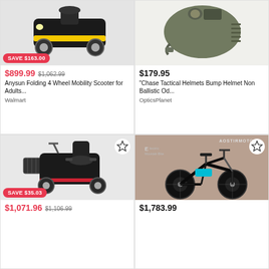[Figure (photo): Anysun folding 4 wheel mobility scooter, black and yellow, shown from front-side angle with SAVE $163.00 badge]
$899.99  $1,062.99
Anysun Folding 4 Wheel Mobility Scooter for Adults...
Walmart
[Figure (photo): Chase Tactical Helmets Bump Helmet Non Ballistic Olive Drab green military helmet]
$179.95
"Chase Tactical Helmets Bump Helmet Non Ballistic Od...
OpticsPlanet
[Figure (photo): Black 4-wheel electric mobility scooter with red accents and front basket, star/favorite icon, SAVE $35.03 badge]
$1,071.96  $1,106.99
[Figure (photo): AOSTIRMOTOR Electric Mountain Bike, black with teal accents, star/favorite icon]
$1,783.99